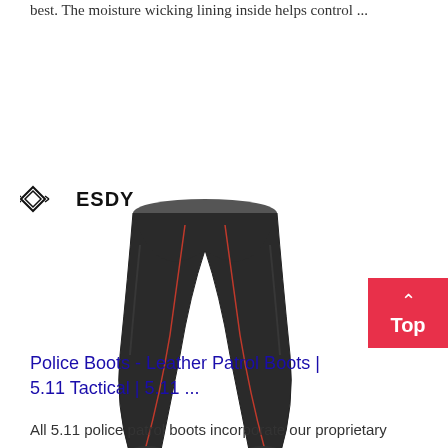best. The moisture wicking lining inside helps control ...
[Figure (photo): ESDY brand logo and a pair of dark compression pants/leggings with red stitching detail, shown on a white background]
Police Boots - Leather Patrol Boots | 5.11 Tactical | 5.11 ...
All 5.11 police patrol boots incorporate our proprietary